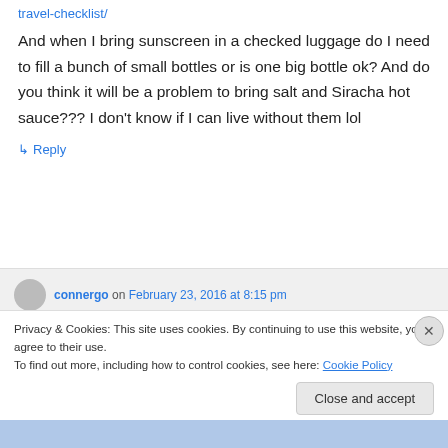travel-checklist/
And when I bring sunscreen in a checked luggage do I need to fill a bunch of small bottles or is one big bottle ok? And do you think it will be a problem to bring salt and Siracha hot sauce??? I don't know if I can live without them lol
↳ Reply
connergo on February 23, 2016 at 8:15 pm
Privacy & Cookies: This site uses cookies. By continuing to use this website, you agree to their use.
To find out more, including how to control cookies, see here: Cookie Policy
Close and accept